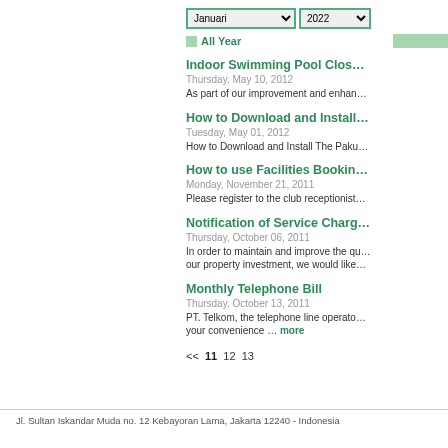Januari | 2022 (filter selects)
All Year
Indoor Swimming Pool Clos...
Thursday, May 10, 2012
As part of our improvement and enhan...
How to Download and Install...
Tuesday, May 01, 2012
How to Download and Install The Paku...
How to use Facilities Bookin...
Monday, November 21, 2011
Please register to the club receptionist...
Notification of Service Charg...
Thursday, October 06, 2011
In order to maintain and improve the qu... our property investment, we would like...
Monthly Telephone Bill
Thursday, October 13, 2011
PT. Telkom, the telephone line operato... your convenience ... more
<< 11 12 13
Jl. Sultan Iskandar Muda no. 12 Kebayoran Lama, Jakarta 12240 - Indonesia